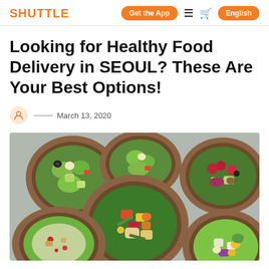SHUTTLE | Get the App  ≡  🛒  English
Looking for Healthy Food Delivery in SEOUL? These Are Your Best Options!
March 13, 2020
[Figure (photo): Overhead photo of several wooden bowls filled with colorful fresh salads including various vegetables, grains, and toppings on a light grey background.]